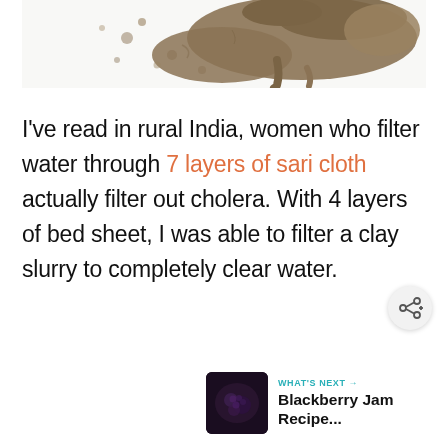[Figure (photo): Photo of muddy clay slurry filtered through white cloth, showing brownish-grey mud residue on white fabric background]
I've read in rural India, women who filter water through 7 layers of sari cloth actually filter out cholera. With 4 layers of bed sheet, I was able to filter a clay slurry to completely clear water.
[Figure (other): Share button icon - circle with share/forward arrow symbol]
[Figure (other): What's Next thumbnail showing Blackberry Jam Recipe with dark berry image]
WHAT'S NEXT → Blackberry Jam Recipe...